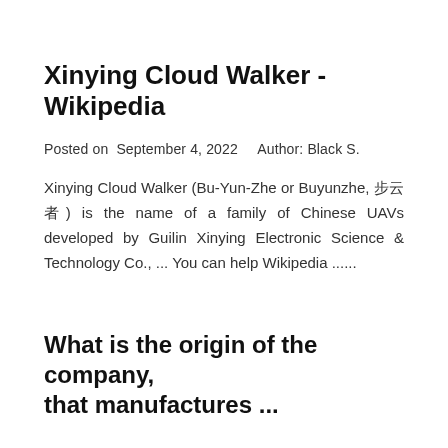Xinying Cloud Walker - Wikipedia
Posted on  September 4, 2022      Author: Black S.
Xinying Cloud Walker (Bu-Yun-Zhe or Buyunzhe, 步云者) is the name of a family of Chinese UAVs developed by Guilin Xinying Electronic Science & Technology Co., ... You can help Wikipedia ......
What is the origin of the company, that manufactures ...